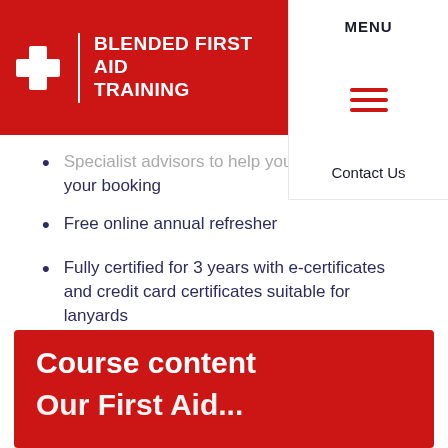BLENDED FIRST AID TRAINING | MENU | Contact Us
Specialist advisors to help you manage your booking
Free online annual refresher
Fully certified for 3 years with e-certificates and credit card certificates suitable for lanyards
Course content
Our First Aid...